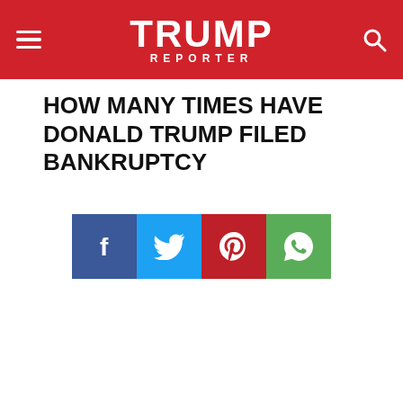TRUMP REPORTER
HOW MANY TIMES HAVE DONALD TRUMP FILED BANKRUPTCY
[Figure (infographic): Four social media share buttons: Facebook (blue), Twitter (light blue), Pinterest (red), WhatsApp (green), each showing respective icons]